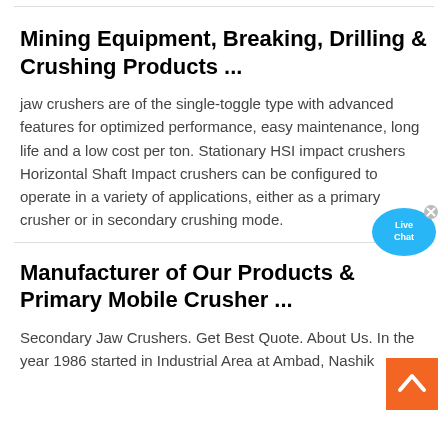Mining Equipment, Breaking, Drilling & Crushing Products ...
jaw crushers are of the single-toggle type with advanced features for optimized performance, easy maintenance, long life and a low cost per ton. Stationary HSI impact crushers Horizontal Shaft Impact crushers can be configured to operate in a variety of applications, either as a primary crusher or in secondary crushing mode.
Manufacturer of Our Products & Primary Mobile Crusher ...
Secondary Jaw Crushers. Get Best Quote. About Us. In the year 1986 started in Industrial Area at Ambad, Nashik